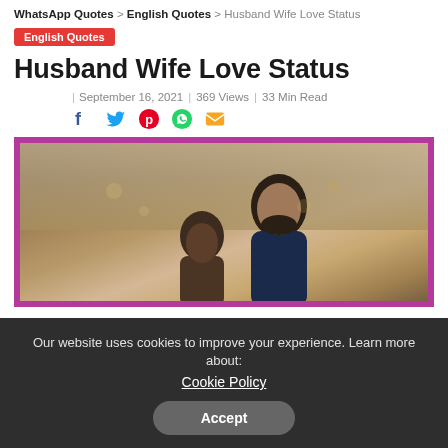WhatsApp Quotes > English Quotes > Husband Wife Love Status
English Quotes
Husband Wife Love Status
September 16, 2021 | 369 Views | 33 Min Read
[Figure (photo): A couple embracing outdoors in autumn, with pink decorative frame border around the image]
Our website uses cookies to improve your experience. Learn more about: Cookie Policy Accept